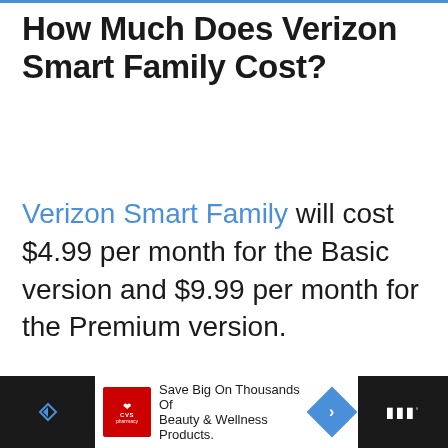How Much Does Verizon Smart Family Cost?
Verizon Smart Family will cost $4.99 per month for the Basic version and $9.99 per month for the Premium version.
However, if you have the Just Kids Plan, you'll get Verizon Smart Family Premium for free!
[Figure (other): Advertisement banner for CVS Pharmacy: Save Big On Thousands Of Beauty & Wellness Products.]